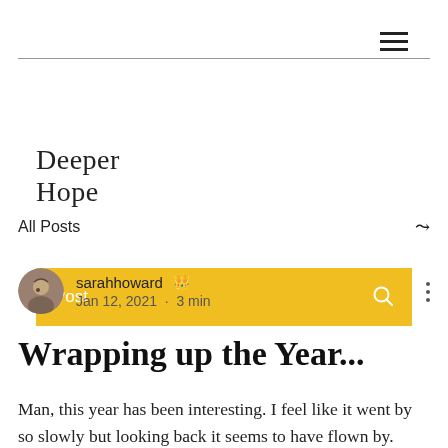Deeper Hope
Post
All Posts
sarahhoward  Jan 12, 2021 · 3 min
Wrapping up the Year...
Man, this year has been interesting. I feel like it went by so slowly but looking back it seems to have flown by. It feels like from every that to stay a d